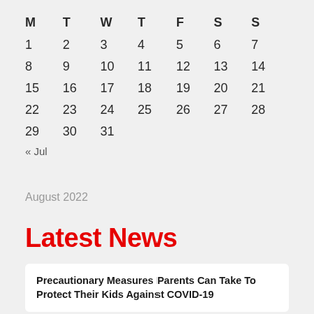| M | T | W | T | F | S | S |
| --- | --- | --- | --- | --- | --- | --- |
| 1 | 2 | 3 | 4 | 5 | 6 | 7 |
| 8 | 9 | 10 | 11 | 12 | 13 | 14 |
| 15 | 16 | 17 | 18 | 19 | 20 | 21 |
| 22 | 23 | 24 | 25 | 26 | 27 | 28 |
| 29 | 30 | 31 |  |  |  |  |
| « Jul |  |  |  |  |  |  |
August 2022
Latest News
Precautionary Measures Parents Can Take To Protect Their Kids Against COVID-19